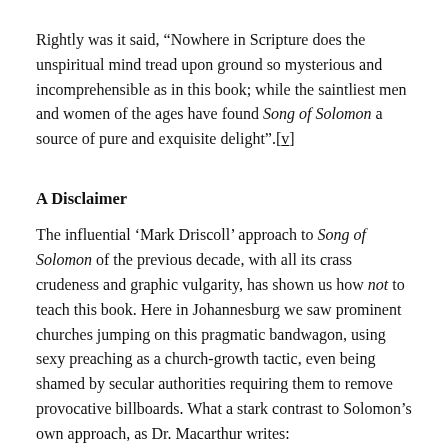Rightly was it said, “Nowhere in Scripture does the unspiritual mind tread upon ground so mysterious and incomprehensible as in this book; while the saintliest men and women of the ages have found Song of Solomon a source of pure and exquisite delight”.[v]
A Disclaimer
The influential ‘Mark Driscoll’ approach to Song of Solomon of the previous decade, with all its crass crudeness and graphic vulgarity, has shown us how not to teach this book. Here in Johannesburg we saw prominent churches jumping on this pragmatic bandwagon, using sexy preaching as a church-growth tactic, even being shamed by secular authorities requiring them to remove provocative billboards. What a stark contrast to Solomon’s own approach, as Dr. Macarthur writes:
…the language Scripture employs when dealing with the physical relationship between husband and wife is always careful—often plain, sometimes poetic, usually delicate,